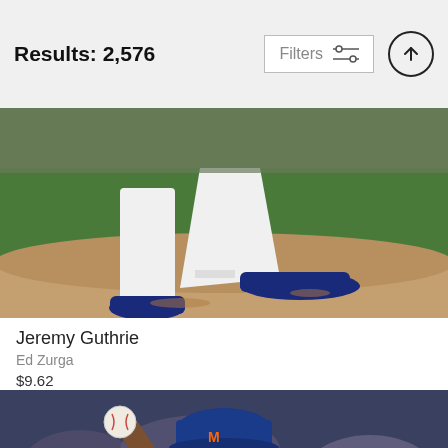Results: 2,576
[Figure (screenshot): Filters button with sliders icon and up arrow circle button]
[Figure (photo): Baseball pitcher on mound, legs visible in white uniform, pitching motion, outdoor stadium]
Jeremy Guthrie
Ed Zurga
$9.62
[Figure (photo): New York Mets pitcher number 58 in white pinstripe uniform and blue Mets cap, winding up to pitch, holding baseball]